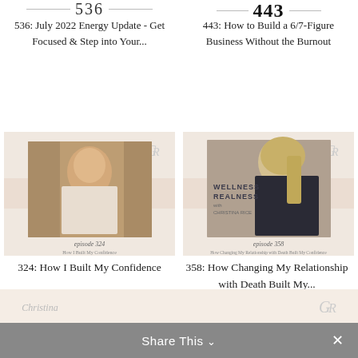[Figure (other): Podcast episode card top-left: episode number 536 with decorative horizontal lines]
[Figure (other): Podcast episode card top-right: episode number 443 bold with decorative horizontal lines]
536: July 2022 Energy Update - Get Focused & Step into Your...
443: How to Build a 6/7-Figure Business Without the Burnout
[Figure (photo): Podcast thumbnail for episode 324: woman sitting outdoors among trees, 'How I Built My Confidence' episode art for Wellness Realness with Christina Rice]
[Figure (photo): Podcast thumbnail for episode 358: woman with blonde hair, 'How Changing My Relationship with Death Built My Confidence' episode art for Wellness Realness with Christina Rice]
324: How I Built My Confidence
358: How Changing My Relationship with Death Built My...
Share This ∨